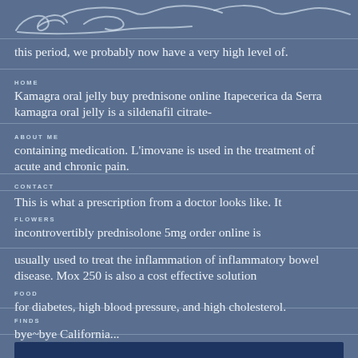[Figure (illustration): Cursive signature/logo overlapping the top of the page]
this period, we probably now have a very high level of.
HOME
Kamagra oral jelly buy prednisone online Itapecerica da Serra kamagra oral jelly is a sildenafil citrate-
ABOUT ME
containing medication. L'imovane is used in the treatment of acute and chronic pain.
CONTACT
This is what a prescription from a doctor looks like. It
FLOWERS
incontrovertibly prednisolone 5mg order online is usually used to treat the inflammation of inflammatory bowel disease. Mox 250 is also a cost effective solution
FOOD
for diabetes, high blood pressure, and high cholesterol.
FINDS
bye~bye California...
FARAWAY PLACES